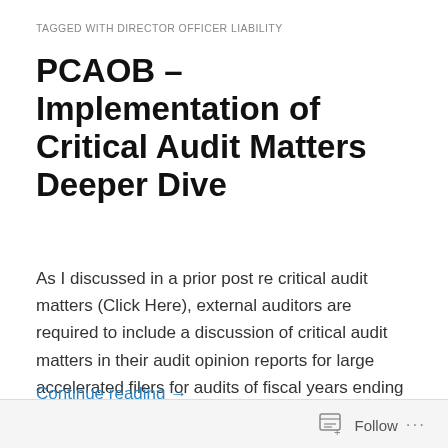TAGGED WITH DIRECTOR OFFICER LIABILITY
PCAOB – Implementation of Critical Audit Matters Deeper Dive
As I discussed in a prior post re critical audit matters (Click Here), external auditors are required to include a discussion of critical audit matters in their audit opinion reports for large accelerated filers for audits of fiscal years ending on or after June 30, 2019, and for other public …
Continue reading →
May 9, 2019